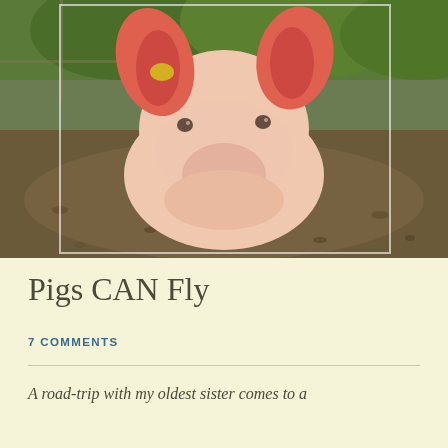[Figure (photo): Close-up photo of a young pink pig looking directly at the camera, standing in a muddy enclosure with green vegetation in the background. The pig has a yellow ear tag on its left ear.]
Pigs CAN Fly
7 COMMENTS
A road-trip with my oldest sister comes to a